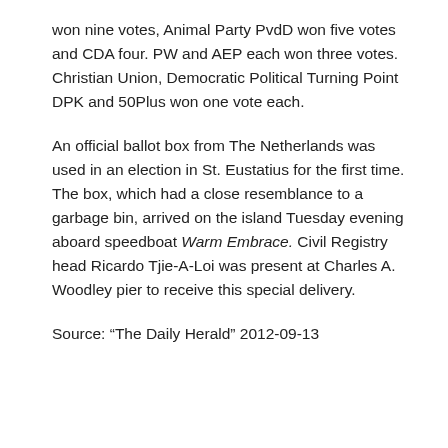won nine votes, Animal Party PvdD won five votes and CDA four. PW and AEP each won three votes. Christian Union, Democratic Political Turning Point DPK and 50Plus won one vote each.
An official ballot box from The Netherlands was used in an election in St. Eustatius for the first time. The box, which had a close resemblance to a garbage bin, arrived on the island Tuesday evening aboard speedboat Warm Embrace. Civil Registry head Ricardo Tjie-A-Loi was present at Charles A. Woodley pier to receive this special delivery.
Source: “The Daily Herald” 2012-09-13